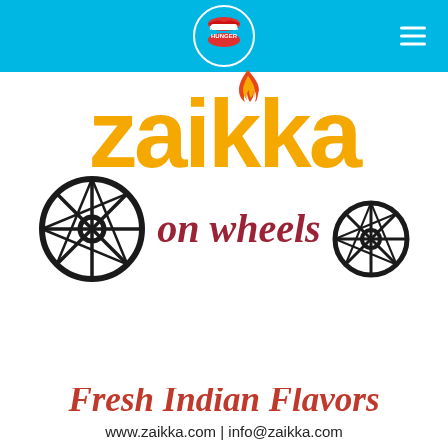Roaming Hunger
[Figure (logo): Zaikka on Wheels logo featuring large orange bold 'zaikka' text with a flame above the 'i', cursive dark red 'on wheels' text, two wagon wheel illustrations, tagline 'Fresh Indian Flavors', and contact info www.zaikka.com | info@zaikka.com]
Fresh Indian Flavors
www.zaikka.com | info@zaikka.com